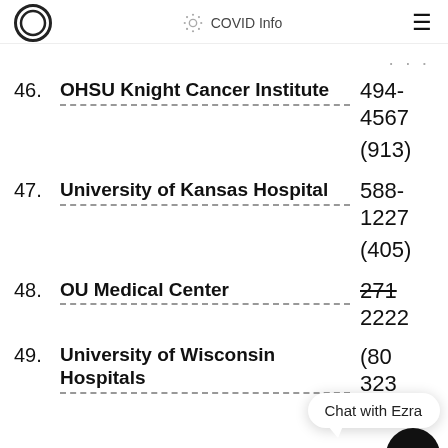COVID Info
46. OHSU Knight Cancer Institute  494-4567  (913)
47. University of Kansas Hospital  588-1227  (405)
48. OU Medical Center  271-2222  (80…
49. University of Wisconsin Hospitals  323…